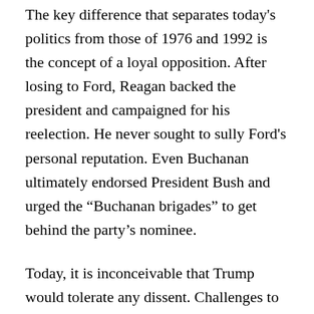The key difference that separates today's politics from those of 1976 and 1992 is the concept of a loyal opposition. After losing to Ford, Reagan backed the president and campaigned for his reelection. He never sought to sully Ford's personal reputation. Even Buchanan ultimately endorsed President Bush and urged the “Buchanan brigades” to get behind the party’s nominee.
Today, it is inconceivable that Trump would tolerate any dissent. Challenges to his grip on the Republican Party will be met with derision, insults, and ugliness. If a primary challenge turns into a long and drawn-out affair, it could well become destructive to both sides. Even the